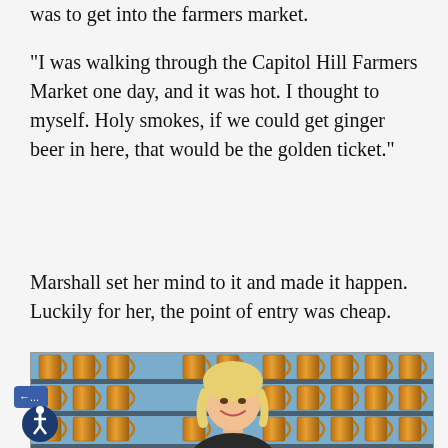was to get into the farmers market.
"I was walking through the Capitol Hill Farmers Market one day, and it was hot. I thought to myself. Holy smokes, if we could get ginger beer in here, that would be the golden ticket."
Marshall set her mind to it and made it happen. Luckily for her, the point of entry was cheap.
[Figure (photo): A smiling blonde woman standing in front of shelves lined with copper/gold mugs, with an accessibility button overlay in the bottom left corner]